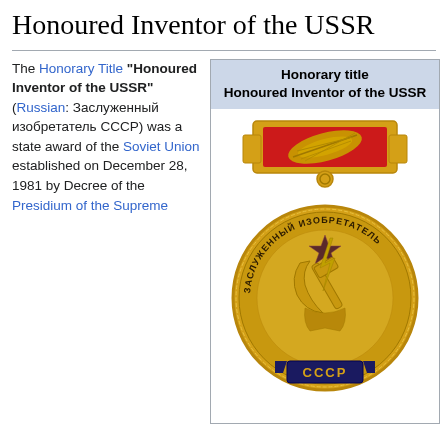Honoured Inventor of the USSR
The Honorary Title "Honoured Inventor of the USSR" (Russian: Заслуженный изобретатель СССР) was a state award of the Soviet Union established on December 28, 1981 by Decree of the Presidium of the Supreme
[Figure (photo): Infobox showing 'Honorary title / Honoured Inventor of the USSR' header and a gold medal with red enamel block at top featuring a laurel/feather emblem, and circular gold medal below with Cyrillic text ЗАСЛУЖЕННЫЙ ИЗОБРЕТАТЕЛЬ and hammer-and-sickle with star emblem, and СССР banner at bottom.]